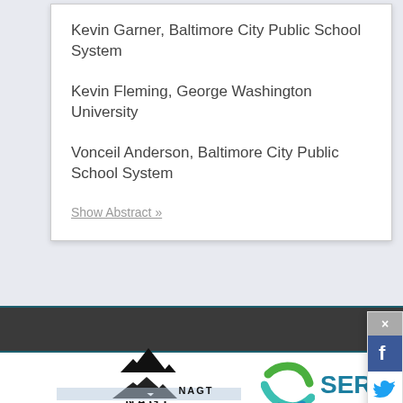Kevin Garner, Baltimore City Public School System
Kevin Fleming, George Washington University
Vonceil Anderson, Baltimore City Public School System
Show Abstract »
[Figure (logo): NAGT mountain logo with text NAGT below]
[Figure (logo): SERC logo with globe icon and partial text SERC]
[Figure (logo): Social media sidebar with Facebook, Twitter, RSS icons]
[Figure (logo): NAGT logo card in footer gray band]